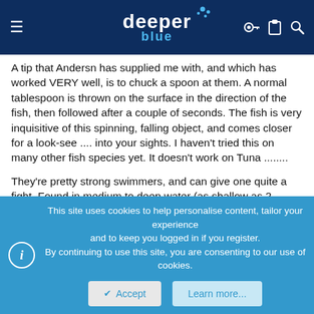deeper blue (logo with navigation icons)
A tip that Andersn has supplied me with, and which has worked VERY well, is to chuck a spoon at them. A normal tablespoon is thrown on the surface in the direction of the fish, then followed after a couple of seconds. The fish is very inquisitive of this spinning, falling object, and comes closer for a look-see .... into your sights. I haven't tried this on many other fish species yet. It doesn't work on Tuna ........
They're pretty strong swimmers, and can give one quite a fight. Found in medium to deep water (as shallow as 2 meters and as deep as 40) they appear out of nowhere, swim in large shoals with the biggest members at the back.
Diving close to groups of floating sea birds eating baitfish normally guarantees either Yellowtial or Tuna. This is especially true for the False Bay are in the Western Cape.
This site uses cookies to help personalise content, tailor your experience and to keep you logged in if you register.
By continuing to use this site, you are consenting to our use of cookies.